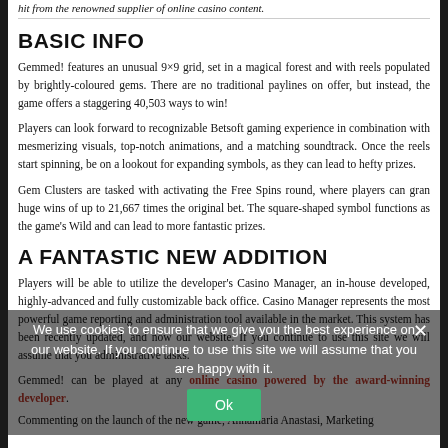hit from the renowned supplier of online casino content.
BASIC INFO
Gemmed! features an unusual 9×9 grid, set in a magical forest and with reels populated by brightly-coloured gems. There are no traditional paylines on offer, but instead, the game offers a staggering 40,503 ways to win!
Players can look forward to recognizable Betsoft gaming experience in combination with mesmerizing visuals, top-notch animations, and a matching soundtrack. Once the reels start spinning, be on a lookout for expanding symbols, as they can lead to hefty prizes.
Gem Clusters are tasked with activating the Free Spins round, where players can gran huge wins of up to 21,667 times the original bet. The square-shaped symbol functions as the game's Wild and can lead to more fantastic prizes.
A FANTASTIC NEW ADDITION
Players will be able to utilize the developer's Casino Manager, an in-house developed, highly-advanced and fully customizable back office. Casino Manager represents the most powerful game reporting and administration tool available in the market. This system has been recently updated, and now our website. If you continue to use this site we will assume that you administrative tasks.
Gemmed! can be played at any online casino powered by the award-winning developer.
Commenting on the launch of the new game, Annamaria Anastasi, Marketing